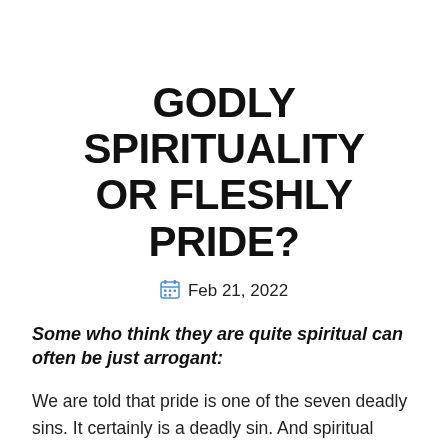GODLY SPIRITUALITY OR FLESHLY PRIDE?
Feb 21, 2022
Some who think they are quite spiritual can often be just arrogant:
We are told that pride is one of the seven deadly sins. It certainly is a deadly sin. And spiritual pride may be the worst form of this. Of course we are all susceptible to pride, and all Christians are at risk of succumbing to spiritual pride. Self-righteousness and carrying on like a Pharisee is an ever-present